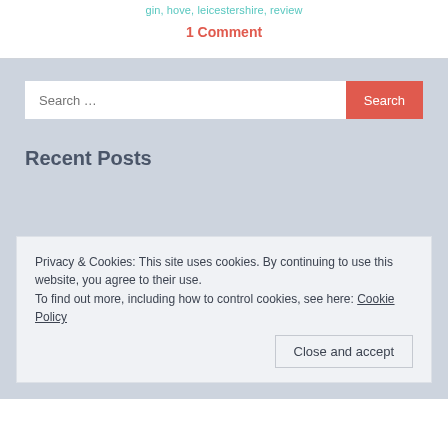gin, hove, leicestershire, review
1 Comment
Search …
Recent Posts
Privacy & Cookies: This site uses cookies. By continuing to use this website, you agree to their use.
To find out more, including how to control cookies, see here: Cookie Policy
Close and accept